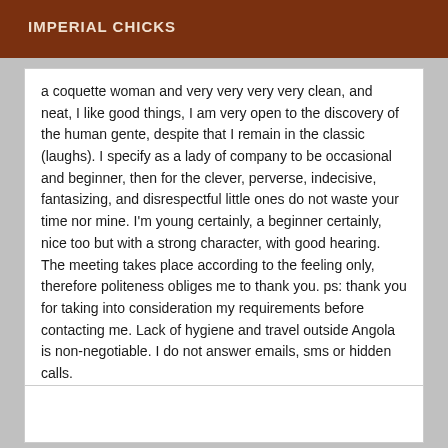IMPERIAL CHICKS
a coquette woman and very very very very clean, and neat, I like good things, I am very open to the discovery of the human gente, despite that I remain in the classic (laughs). I specify as a lady of company to be occasional and beginner, then for the clever, perverse, indecisive, fantasizing, and disrespectful little ones do not waste your time nor mine. I'm young certainly, a beginner certainly, nice too but with a strong character, with good hearing. The meeting takes place according to the feeling only, therefore politeness obliges me to thank you. ps: thank you for taking into consideration my requirements before contacting me. Lack of hygiene and travel outside Angola is non-negotiable. I do not answer emails, sms or hidden calls.